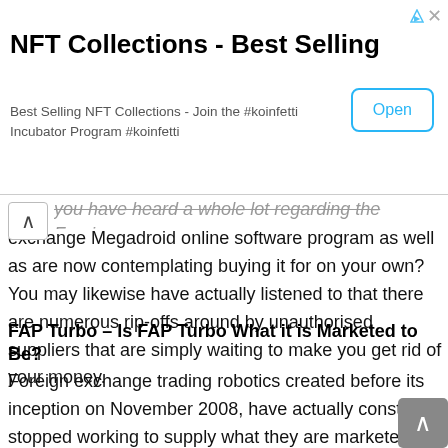[Figure (screenshot): Advertisement banner: NFT Collections - Best Selling. Text: Best Selling NFT Collections - Join the #koinfetti Incubator Program #koinfetti. Open button in blue outline.]
you have heard a whole lot regarding the Foreign exchange Megadroid online software program as well as are now contemplating buying it for on your own? You may likewise have actually listened to that there are numerous rip-offs around by unauthorised suppliers that are simply waiting to make you get rid of your money.
FAP Turbo – Is FAP Turbo What it is Marketed to Be?
Foreign exchange trading robotics created before its inception on November 2008, have actually constantly stopped working to supply what they are marketed out to be and also consequently, customers have actually been unconvinced